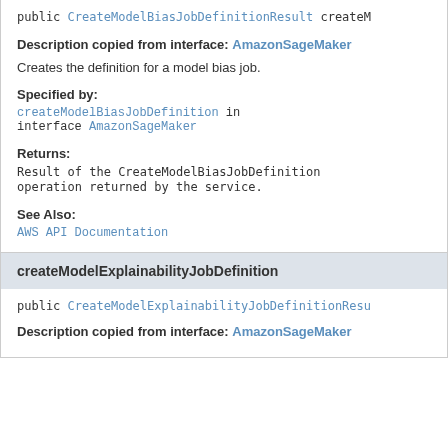public CreateModelBiasJobDefinitionResult createM…
Description copied from interface: AmazonSageMaker
Creates the definition for a model bias job.
Specified by:
createModelBiasJobDefinition in interface AmazonSageMaker
Returns:
Result of the CreateModelBiasJobDefinition operation returned by the service.
See Also:
AWS API Documentation
createModelExplainabilityJobDefinition
public CreateModelExplainabilityJobDefinitionResu…
Description copied from interface: AmazonSageMaker